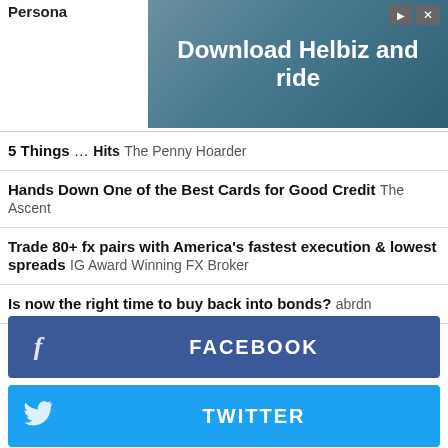[Figure (screenshot): Advertisement banner: 'Download Helbiz and ride' with a scooter image and close/skip controls]
Persona...
5 Things... Hits  The Penny Hoarder
Hands Down One of the Best Cards for Good Credit  The Ascent
Trade 80+ fx pairs with America's fastest execution & lowest spreads  IG Award Winning FX Broker
Is now the right time to buy back into bonds?  abrdn
[Figure (infographic): Social share buttons: FACEBOOK, TWITTER, GOOGLE+, LINKEDIN, REDDIT, PRINT]